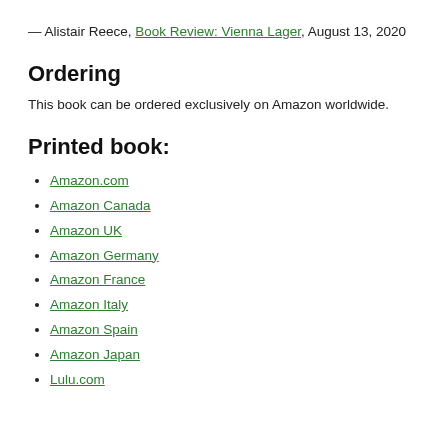— Alistair Reece, Book Review: Vienna Lager, August 13, 2020
Ordering
This book can be ordered exclusively on Amazon worldwide.
Printed book:
Amazon.com
Amazon Canada
Amazon UK
Amazon Germany
Amazon France
Amazon Italy
Amazon Spain
Amazon Japan
Lulu.com